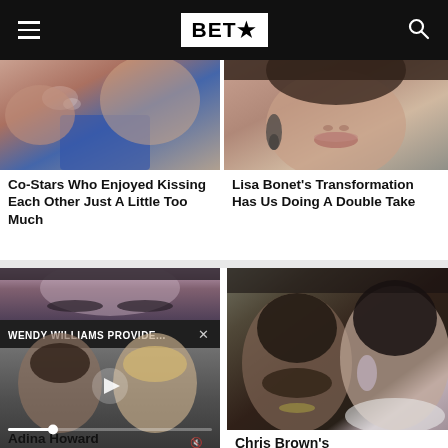BET★ (navigation bar)
[Figure (photo): Close-up photo of hands/kissing scene, pinkish and blue tones]
Co-Stars Who Enjoyed Kissing Each Other Just A Little Too Much
[Figure (photo): Close-up portrait of Lisa Bonet, warm skin tones, earrings visible]
Lisa Bonet's Transformation Has Us Doing A Double Take
[Figure (screenshot): Video player overlay with text WENDY WILLIAMS PROVIDE... and X close button, two faces visible below with play button and scrubber]
Adina Howard
[Figure (photo): Photo of Chris Brown and Rihanna side by side]
Chris Brown's